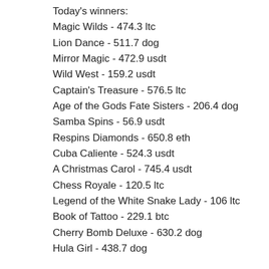Today's winners:
Magic Wilds - 474.3 ltc
Lion Dance - 511.7 dog
Mirror Magic - 472.9 usdt
Wild West - 159.2 usdt
Captain's Treasure - 576.5 ltc
Age of the Gods Fate Sisters - 206.4 dog
Samba Spins - 56.9 usdt
Respins Diamonds - 650.8 eth
Cuba Caliente - 524.3 usdt
A Christmas Carol - 745.4 usdt
Chess Royale - 120.5 ltc
Legend of the White Snake Lady - 106 ltc
Book of Tattoo - 229.1 btc
Cherry Bomb Deluxe - 630.2 dog
Hula Girl - 438.7 dog
New Games:
King Billy Casino Fortune Jump
OneHash 3 Butterflies
Oshi Casino Fancy Fruits